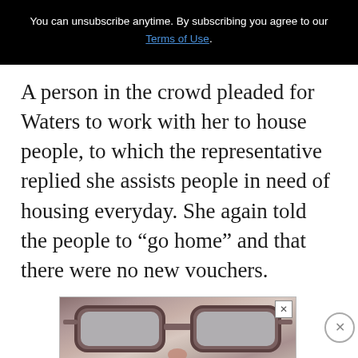You can unsubscribe anytime. By subscribing you agree to our Terms of Use.
A person in the crowd pleaded for Waters to work with her to house people, to which the representative replied she assists people in need of housing everyday. She again told the people to “go home” and that there were no new vouchers.
[Figure (photo): Advertisement banner showing close-up of eyeglasses on a face]
[Figure (photo): Advertisement for Narcofornia documentary with text 'HOW PROGRESSIVES SOLD OUT RURAL TOWNS TO FOREIGN DRUG LORDS' and 'WATCH NOW' button]